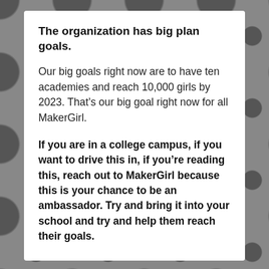The organization has big plan goals.
Our big goals right now are to have ten academies and reach 10,000 girls by 2023. That’s our big goal right now for all MakerGirl.
If you are in a college campus, if you want to drive this in, if you’re reading this, reach out to MakerGirl because this is your chance to be an ambassador. Try and bring it into your school and try and help them reach their goals.